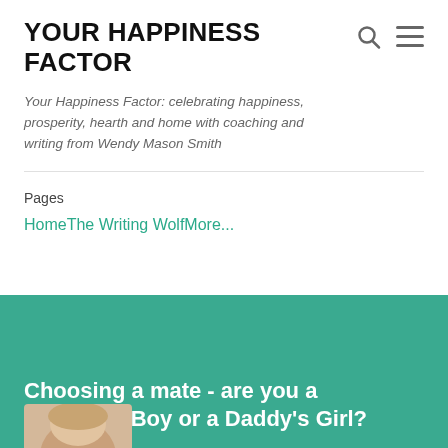YOUR HAPPINESS FACTOR
Your Happiness Factor: celebrating happiness, prosperity, hearth and home with coaching and writing from Wendy Mason Smith
Pages
Home
The Writing Wolf
More...
Choosing a mate - are you a Mummy's Boy or a Daddy's Girl?
[Figure (photo): Partial photo of a woman's face/head with blonde hair at bottom of page]